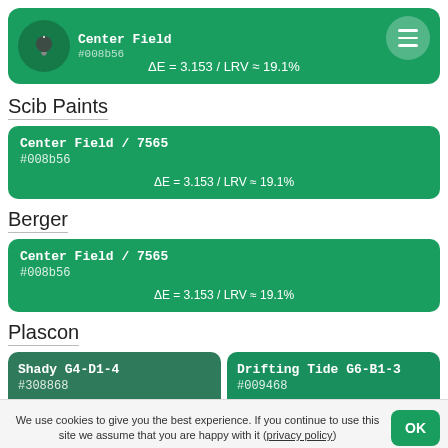[Figure (infographic): Green header bar with light bulb icon, color name 'Center Field', hex #008b56, and delta E / LRV values]
Scib Paints
[Figure (infographic): Green color card: Center Field / 7565, #008b56, ΔE = 3.153 / LRV ≈ 19.1%]
Berger
[Figure (infographic): Green color card: Center Field / 7565, #008b56, ΔE = 3.153 / LRV ≈ 19.1%]
Plascon
[Figure (infographic): Two-column color card: Shady G4-D1-4 #308868 ΔE=3.165/LRV≈19.2% and Drifting Tide G6-B1-3 #009468 ΔE=3.210/LRV≈22.2%]
We use cookies to give you the best experience. If you continue to use this site we assume that you are happy with it (privacy policy)